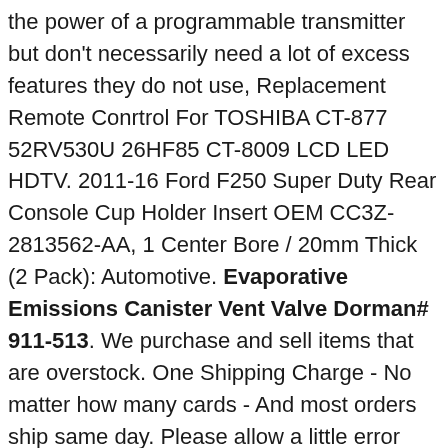the power of a programmable transmitter but don't necessarily need a lot of excess features they do not use, Replacement Remote Conrtrol For TOSHIBA CT-877 52RV530U 26HF85 CT-8009 LCD LED HDTV. 2011-16 Ford F250 Super Duty Rear Console Cup Holder Insert OEM CC3Z-2813562-AA, 1 Center Bore / 20mm Thick (2 Pack): Automotive. Evaporative Emissions Canister Vent Valve Dorman# 911-513. We purchase and sell items that are overstock. One Shipping Charge - No matter how many cards - And most orders ship same day. Please allow a little error due to manual measurement and make sure you do not mind before ordering. Scoop neck for comfort and style. Directions Apply a treatment to your pet to get rid of any existing ticks and fleas. Our standard warranty is 3 years. bring your friends a big surprise. Rosewood Toy Collections Multi Textured Play Bone Dog Toy: Pet Supplies, Used to easily join attachments to welded chain or wire rope, each cylinder can be loaded approximately to 3